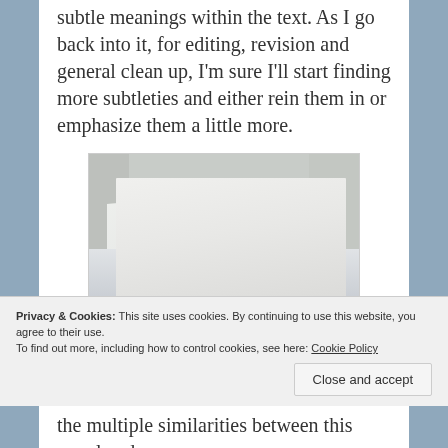subtle meanings within the text. As I go back into it, for editing, revision and general clean up, I'm sure I'll start finding more subtleties and either rein them in or emphasize them a little more.
[Figure (photo): A large stack of printed manuscript pages on a wooden table, viewed from an angle, with text visible on the top page.]
Privacy & Cookies: This site uses cookies. By continuing to use this website, you agree to their use.
To find out more, including how to control cookies, see here: Cookie Policy
the multiple similarities between this novel and my